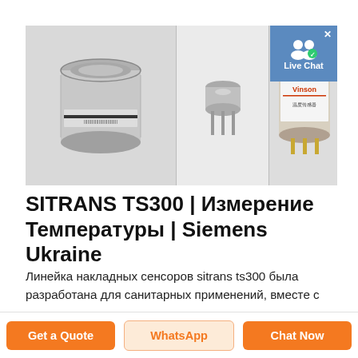[Figure (photo): Three temperature sensor products: left - cylindrical metal Siemens SITRANS TS300 sensor housing, center - small TO-18 transistor-style sensor with pins, right - cylindrical Vinson branded sensor module with blue label and gold pins. Live Chat badge overlay in top right corner.]
SITRANS TS300 | Измерение Температуры | Siemens Ukraine
Линейка накладных сенсоров sitrans ts300 была разработана для санитарных применений, вместе с широким диапазоном технологических присоединений. Преимущества накладных измерений особенно проявляются, когда речь идет о ...
Get a Quote | WhatsApp | Chat Now